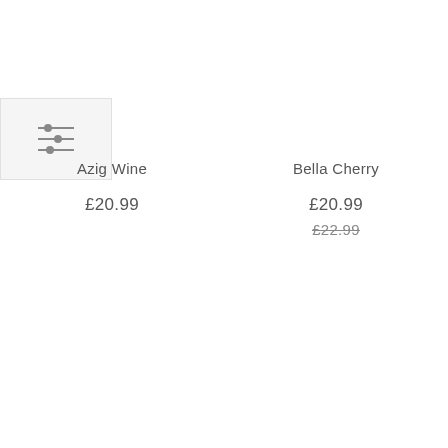[Figure (other): Filter/sort icon button with three horizontal sliders, displayed in a light grey box]
Azig Wine
£20.99
Bella Cherry
£20.99
£22.99